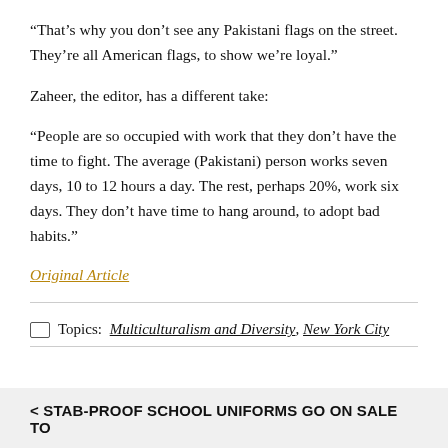“That’s why you don’t see any Pakistani flags on the street. They’re all American flags, to show we’re loyal.”
Zaheer, the editor, has a different take:
“People are so occupied with work that they don’t have the time to fight. The average (Pakistani) person works seven days, 10 to 12 hours a day. The rest, perhaps 20%, work six days. They don’t have time to hang around, to adopt bad habits.”
Original Article
Topics: Multiculturalism and Diversity, New York City
< STAB-PROOF SCHOOL UNIFORMS GO ON SALE TO